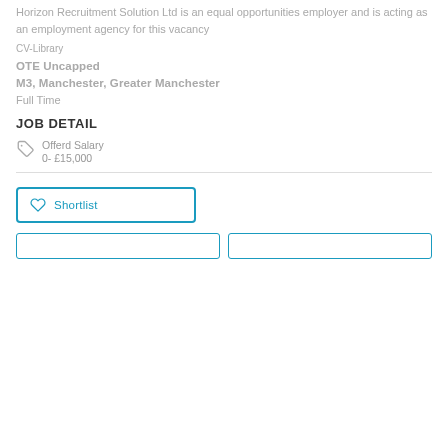Horizon Recruitment Solution Ltd is an equal opportunities employer and is acting as an employment agency for this vacancy
CV-Library
OTE Uncapped
M3, Manchester, Greater Manchester
Full Time
JOB DETAIL
Offerd Salary
0- £15,000
Shortlist